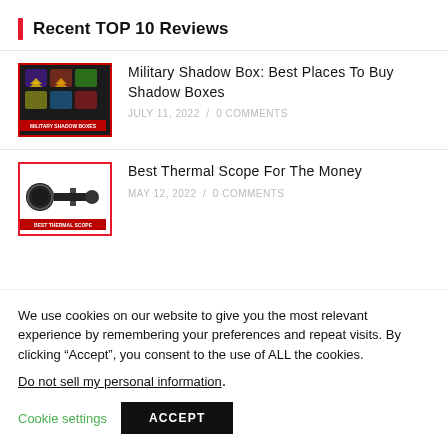Recent TOP 10 Reviews
Military Shadow Box: Best Places To Buy Shadow Boxes — JULY 11, 2022 / 0 COMMENTS
Best Thermal Scope For The Money — MAY 12, 2022 / 0 COMMENTS
We use cookies on our website to give you the most relevant experience by remembering your preferences and repeat visits. By clicking “Accept”, you consent to the use of ALL the cookies. Do not sell my personal information.